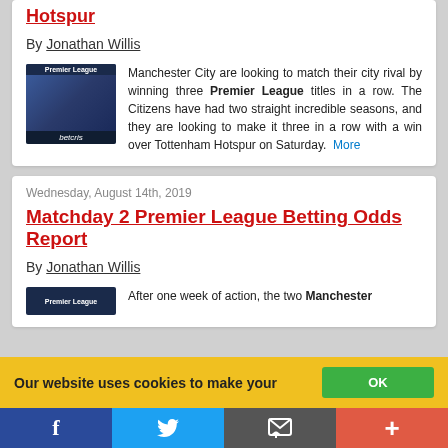Hotspur
By Jonathan Willis
Manchester City are looking to match their city rival by winning three Premier League titles in a row. The Citizens have had two straight incredible seasons, and they are looking to make it three in a row with a win over Tottenham Hotspur on Saturday.   More
Wednesday, August 14th, 2019
Matchday 2 Premier League Betting Odds Report
By Jonathan Willis
After one week of action, the two Manchester
Our website uses cookies to make your
[Figure (illustration): Premier League branded thumbnail image with betcris logo]